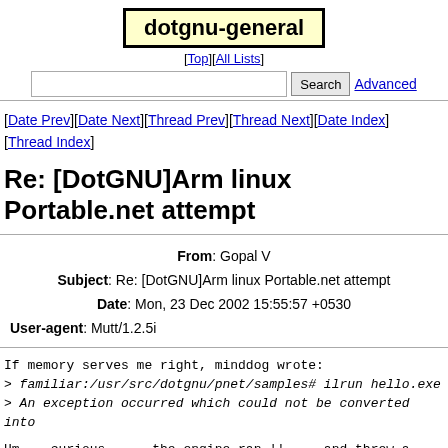dotgnu-general
[Top][All Lists]
Search  Advanced
[Date Prev][Date Next][Thread Prev][Thread Next][Date Index][Thread Index]
Re: [DotGNU]Arm linux Portable.net attempt
| From | Gopal V |
| Subject | Re: [DotGNU]Arm linux Portable.net attempt |
| Date | Mon, 23 Dec 2002 15:55:57 +0530 |
| User-agent | Mutt/1.2.5i |
If memory serves me right, minddog wrote:
> familiar:/usr/src/dotgnu/pnet/samples# ilrun hello.exe
> An exception occurred which could not be converted into

Hm... curious .... the engine ran !! ... and threw a gibb
Which is kinda good news ....